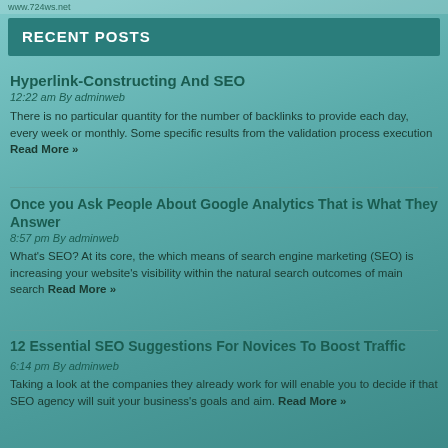www.724ws.net
RECENT POSTS
Hyperlink-Constructing And SEO
12:22 am By adminweb
There is no particular quantity for the number of backlinks to provide each day, every week or monthly. Some specific results from the validation process execution Read More »
Once you Ask People About Google Analytics That is What They Answer
8:57 pm By adminweb
What's SEO? At its core, the which means of search engine marketing (SEO) is increasing your website's visibility within the natural search outcomes of main search Read More »
12 Essential SEO Suggestions For Novices To Boost Traffic
6:14 pm By adminweb
Taking a look at the companies they already work for will enable you to decide if that SEO agency will suit your business's goals and aim. Read More »